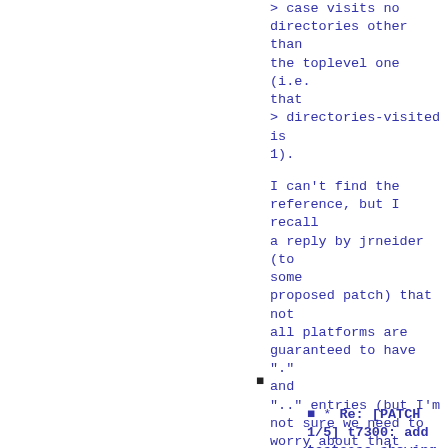> case visits no
directories other than
the toplevel one (i.e.
that
> directories-visited is
1).
I can't find the
reference, but I recall
a reply by jrneider (to
some
proposed patch) that not
all platforms are
guaranteed to have "."
and
".." entries (but I'm
not sure we need to
worry about that
presently).
^ permalink raw reply
[flat|nested] 90+
messages in thread
* Re: [PATCH 1/5] t7300: add testcase showing unnecessary traversal into ignored directory